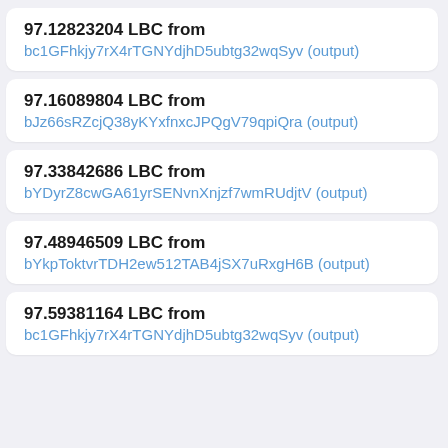97.12823204 LBC from bc1GFhkjy7rX4rTGNYdjhD5ubtg32wqSyv (output)
97.16089804 LBC from bJz66sRZcjQ38yKYxfnxcJPQgV79qpiQra (output)
97.33842686 LBC from bYDyrZ8cwGA61yrSENvnXnjzf7wmRUdjtV (output)
97.48946509 LBC from bYkpToktvrTDH2ew512TAB4jSX7uRxgH6B (output)
97.59381164 LBC from bc1GFhkjy7rX4rTGNYdjhD5ubtg32wqSyv (output)